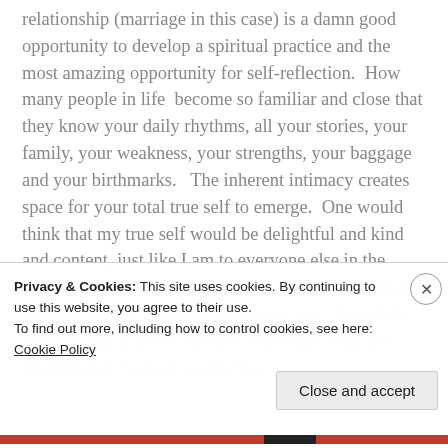relationship (marriage in this case) is a damn good opportunity to develop a spiritual practice and the most amazing opportunity for self-reflection.  How many people in life  become so familiar and close that they know your daily rhythms, all your stories, your family, your weakness, your strengths, your baggage and your birthmarks.   The inherent intimacy creates space for your total true self to emerge.  One would think that my true self would be delightful and kind and content, just like I am to everyone else in the world.   But no, A gets the WORST of me. Day in and day out, he gets the angry version of me.  The bitch.  The one that is never satisfied or pleased with how much he has 'helped' around the
Privacy & Cookies: This site uses cookies. By continuing to use this website, you agree to their use.
To find out more, including how to control cookies, see here: Cookie Policy
Close and accept